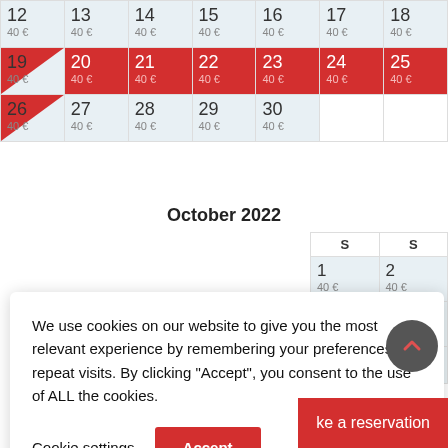| 12 | 13 | 14 | 15 | 16 | 17 | 18 |
| --- | --- | --- | --- | --- | --- | --- |
| 40 € | 40 € | 40 € | 40 € | 40 € | 40 € | 40 € |
| 19
40€ | 20
40€ | 21
40€ | 22
40€ | 23
40€ | 24
40€ | 25
40€ |
| 26
40€ | 27
40€ | 28
40€ | 29
40€ | 30
40€ |  |  |
October 2022
| S | S |
| --- | --- |
| 1
40€ | 2
40€ |
| 8
40€ | 9
40€ |
| 15 | 16 |
We use cookies on our website to give you the most relevant experience by remembering your preferences and repeat visits. By clicking "Accept", you consent to the use of ALL the cookies.
Cookie settings
Accept
ke a reservation